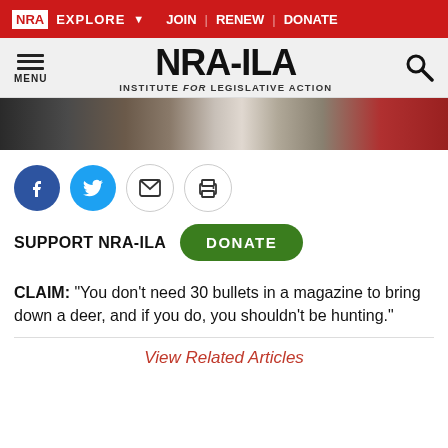NRA EXPLORE  JOIN | RENEW | DONATE
[Figure (logo): NRA-ILA Institute for Legislative Action logo with hamburger menu and search icon]
[Figure (photo): Cropped photo of a person in a dark suit with white shirt and blue tie, partial view from shoulders up]
[Figure (infographic): Social sharing icons: Facebook (blue circle), Twitter (cyan circle), Email (gray circle with envelope), Print (gray circle with printer)]
SUPPORT NRA-ILA   DONATE
CLAIM: "You don't need 30 bullets in a magazine to bring down a deer, and if you do, you shouldn't be hunting."
View Related Articles